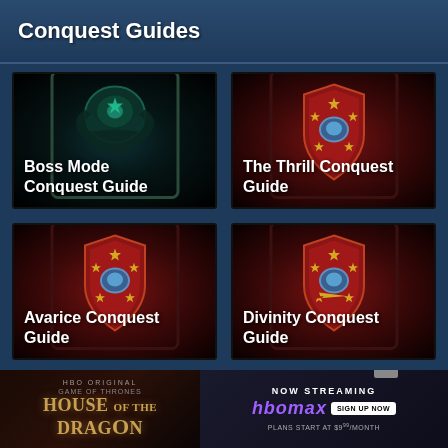Conquest Guides
[Figure (illustration): Boss Mode Conquest Guide card with dark teal mystical figure artwork]
[Figure (illustration): The Thrill Conquest Guide card with red heraldic shield and stars artwork]
[Figure (illustration): Avarice Conquest Guide card with red heraldic shield and stars artwork]
[Figure (illustration): Divinity Conquest Guide card with red heraldic shield and stars artwork]
[Figure (illustration): HBO Max advertisement - House of the Dragon Now Streaming, Plans start at $9.99/month]